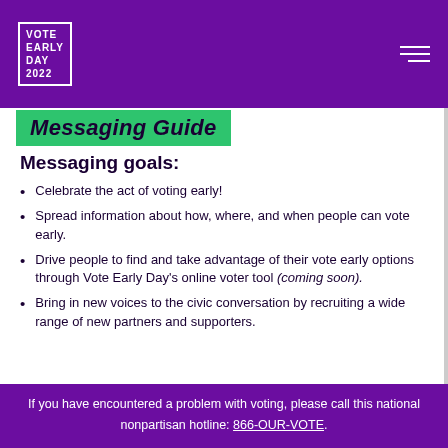VOTE EARLY DAY 2022
Messaging Guide
Messaging goals:
Celebrate the act of voting early!
Spread information about how, where, and when people can vote early.
Drive people to find and take advantage of their vote early options through Vote Early Day's online voter tool (coming soon).
Bring in new voices to the civic conversation by recruiting a wide range of new partners and supporters.
If you have encountered a problem with voting, please call this national nonpartisan hotline: 866-OUR-VOTE.